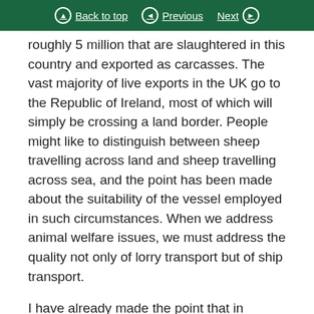Back to top | Previous | Next
roughly 5 million that are slaughtered in this country and exported as carcasses. The vast majority of live exports in the UK go to the Republic of Ireland, most of which will simply be crossing a land border. People might like to distinguish between sheep travelling across land and sheep travelling across sea, and the point has been made about the suitability of the vessel employed in such circumstances. When we address animal welfare issues, we must address the quality not only of lorry transport but of ship transport.
I have already made the point that in setting time limits for journeys, we must take into account traditional agricultural practices. For instance, on the Scottish islands, on islands in the rest of Europe